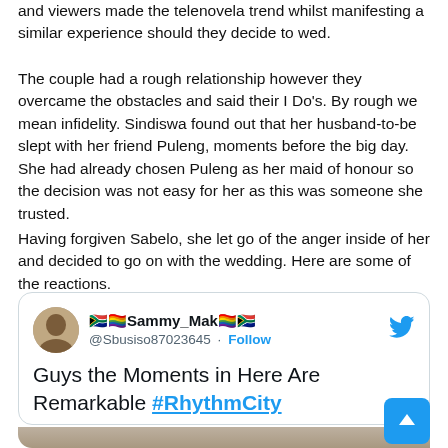and viewers made the telenovela trend whilst manifesting a similar experience should they decide to wed.
The couple had a rough relationship however they overcame the obstacles and said their I Do's. By rough we mean infidelity. Sindiswa found out that her husband-to-be slept with her friend Puleng, moments before the big day. She had already chosen Puleng as her maid of honour so the decision was not easy for her as this was someone she trusted.
Having forgiven Sabelo, she let go of the anger inside of her and decided to go on with the wedding. Here are some of the reactions.
[Figure (screenshot): Tweet from Sammy_Mak (@Sbusiso87023645) saying 'Guys the Moments in Here Are Remarkable #RhythmCity' with a Twitter bird logo and a partial image below.]